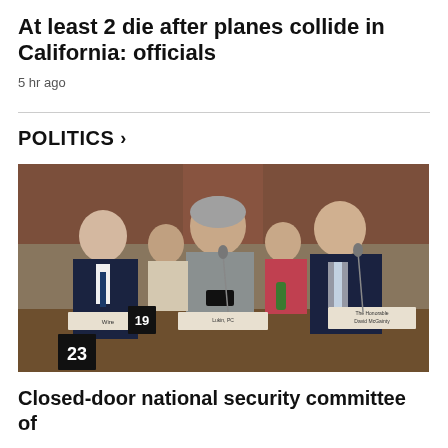At least 2 die after planes collide in California: officials
5 hr ago
POLITICS >
[Figure (photo): People seated at a formal committee hearing table. A bald man in a dark suit on the left, a woman with gray hair in a gray jacket in the center looking at a phone, and a man in a dark suit with a light blue tie on the right. Name placards visible including 'The Honorable David McGainty'. Numbers 19 and 23 visible on black signs.]
Closed-door national security committee of